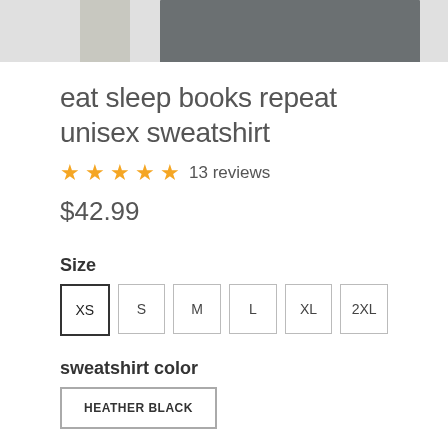[Figure (photo): Partial product photo showing top portion of a dark gray sweatshirt folded, with white item visible on left]
eat sleep books repeat unisex sweatshirt
★★★★★ 13 reviews
$42.99
Size
XS  S  M  L  XL  2XL
sweatshirt color
HEATHER BLACK